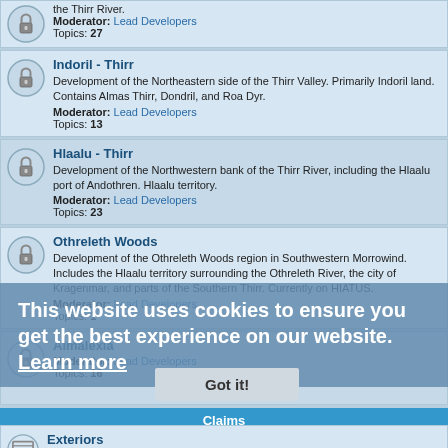the Thirr River. Moderator: Lead Developers Topics: 27
Indoril - Thirr. Development of the Northeastern side of the Thirr Valley. Primarily Indoril land. Contains Almas Thirr, Dondril, and Roa Dyr. Moderator: Lead Developers Topics: 13
Hlaalu - Thirr. Development of the Northwestern bank of the Thirr River, including the Hlaalu port of Andothren. Hlaalu territory. Moderator: Lead Developers Topics: 23
Othreleth Woods. Development of the Othreleth Woods region in Southwestern Morrowind. Includes the Hlaalu territory surrounding the Othreleth River, the city of Kragenmar, and parts of the Southern Thirr. Currently on HIATUS. Moderator: Lead Developers Topics: 1
Almalexia. Moderator: Lead Developers Topics: 16
Claims
Exteriors. Subforums: Exteriors: Unclaimed, Exteriors: Pending, Exteriors: Claimed, Exteriors: Reviewing, Exteriors: Finished, Exteriors: N/A Topics: 296
This website uses cookies to ensure you get the best experience on our website. Learn more
Got it!